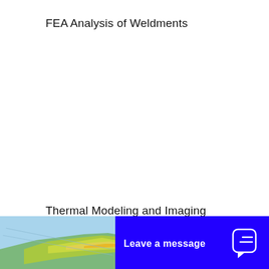FEA Analysis of Weldments
Thermal Modeling and Imaging
[Figure (map): Partial map showing a coastal geographic region with blue water and green/yellow land areas, with light diagonal lines suggesting infrastructure or boundaries.]
Leave a message